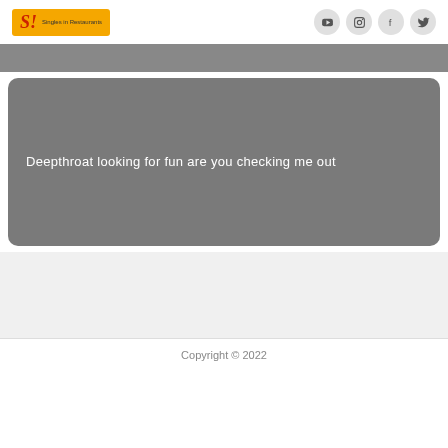[Figure (logo): Singles in Restaurants logo with yellow background, stylized red italic S and small text]
[Figure (infographic): Social media icons: YouTube, Instagram, Facebook, Twitter in gray circular buttons]
[Figure (other): Gray navigation bar strip]
Deepthroat looking for fun are you checking me out
Copyright © 2022